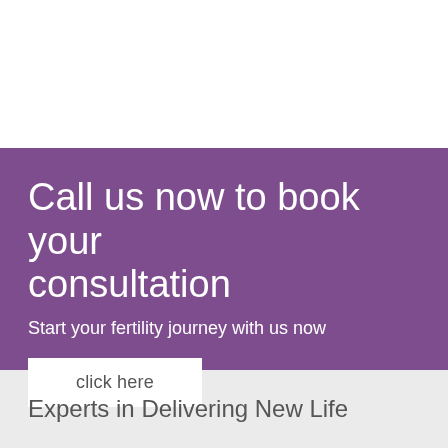Call us now to book your consultation
Start your fertility journey with us now
click here
Experts in Delivering New Life